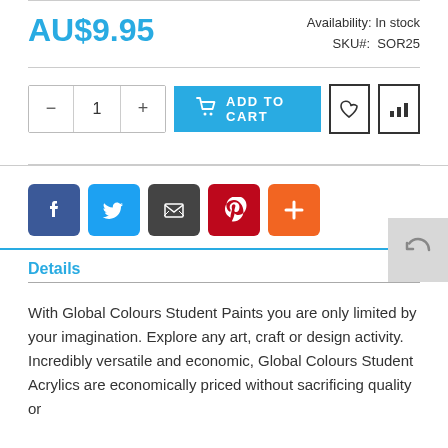AU$9.95
Availability: In stock
SKU#: SOR25
[Figure (screenshot): Add to cart row with quantity selector (minus, 1, plus), blue ADD TO CART button with cart icon, heart wishlist icon button, bar chart compare icon button, and a grey return/back arrow button partially visible at right edge]
[Figure (screenshot): Social sharing icons row: Facebook (blue), Twitter (light blue), Email (dark grey), Pinterest (red), More/Plus (orange)]
Details
With Global Colours Student Paints you are only limited by your imagination. Explore any art, craft or design activity. Incredibly versatile and economic, Global Colours Student Acrylics are economically priced without sacrificing quality or